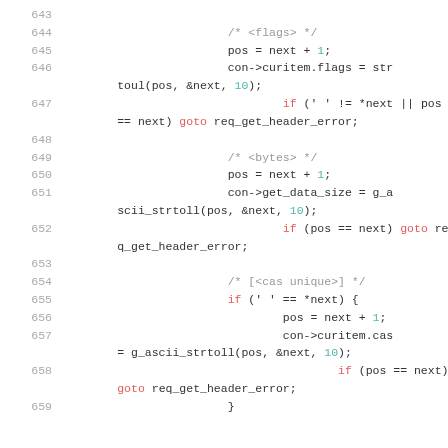Source code listing, lines 643-659, C code for HTTP header parsing
643
644    /* <flags> */
645    pos = next + 1;
646    con->curitem.flags = strtoul(pos, &next, 10);
647    if (' ' != *next || pos == next) goto req_get_header_error;
648
649    /* <bytes> */
650    pos = next + 1;
651    con->get_data_size = g_ascii_strtoll(pos, &next, 10);
652    if (pos == next) goto req_get_header_error;
653
654    /* [<cas unique>] */
655    if (' ' == *next) {
656        pos = next + 1;
657        con->curitem.cas = g_ascii_strtoll(pos, &next, 10);
658        if (pos == next) goto req_get_header_error;
659    }